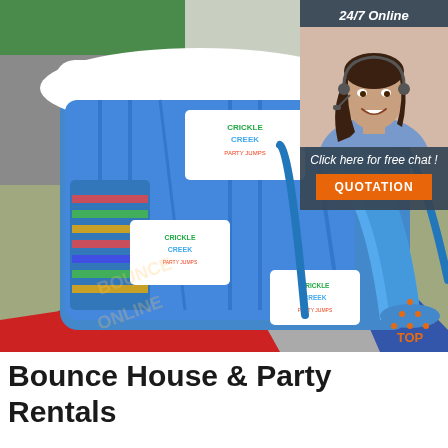[Figure (photo): Aerial view of a large blue inflatable bounce house / water slide with 'Crickle Creek Party Jumps' branding, set on a blue tarp outdoors near a green-roofed building. A red mat is visible at the base.]
[Figure (photo): Overlay panel on top-right showing a smiling female customer service agent wearing a headset, with text '24/7 Online', 'Click here for free chat!', and an orange QUOTATION button on a dark grey/blue background.]
[Figure (logo): TOP logo in bottom-right corner of the main photo — orange dots arranged in a triangle with the word TOP.]
Bounce House & Party Rentals